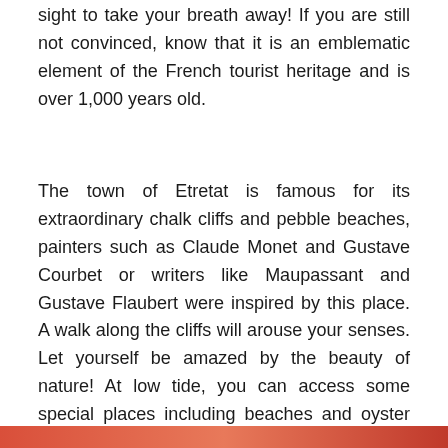sight to take your breath away! If you are still not convinced, know that it is an emblematic element of the French tourist heritage and is over 1,000 years old.
The town of Etretat is famous for its extraordinary chalk cliffs and pebble beaches, painters such as Claude Monet and Gustave Courbet or writers like Maupassant and Gustave Flaubert were inspired by this place. A walk along the cliffs will arouse your senses. Let yourself be amazed by the beauty of nature! At low tide, you can access some special places including beaches and oyster beds!